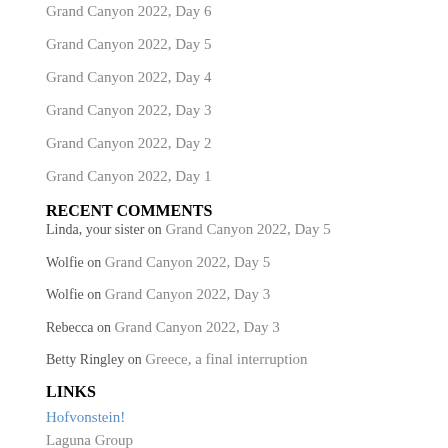Grand Canyon 2022, Day 6
Grand Canyon 2022, Day 5
Grand Canyon 2022, Day 4
Grand Canyon 2022, Day 3
Grand Canyon 2022, Day 2
Grand Canyon 2022, Day 1
RECENT COMMENTS
Linda, your sister on Grand Canyon 2022, Day 5
Wolfie on Grand Canyon 2022, Day 5
Wolfie on Grand Canyon 2022, Day 3
Rebecca on Grand Canyon 2022, Day 3
Betty Ringley on Greece, a final interruption
LINKS
Hofvonstein!
Laguna Group